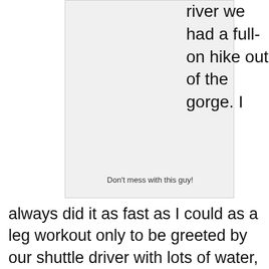[Figure (photo): A light gray empty image placeholder box]
Don't mess with this guy!
river we had a full-on hike out of the gorge. I always did it as fast as I could as a leg workout only to be greeted by our shuttle driver with lots of water, and sometimes beer. It was a short shuttle back from rapid number 13 take out that dumped us off right back at our hotel, all on dirt roads. The AC in our rooms was worth a million dollars as was the incredible buffet dinners each night with live music and a great atmosphere. Every night we would review